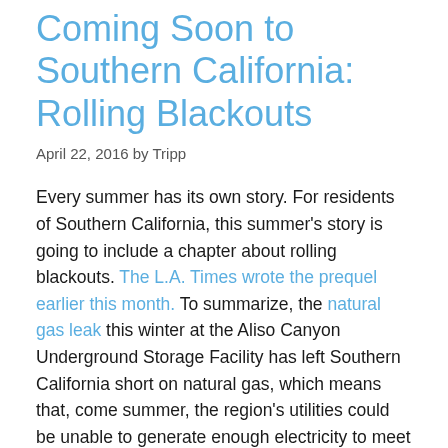Coming Soon to Southern California: Rolling Blackouts
April 22, 2016 by Tripp
Every summer has its own story. For residents of Southern California, this summer's story is going to include a chapter about rolling blackouts. The L.A. Times wrote the prequel earlier this month. To summarize, the natural gas leak this winter at the Aliso Canyon Underground Storage Facility has left Southern California short on natural gas, which means that, come summer, the region's utilities could be unable to generate enough electricity to meet demand. To prevent the entire grid from, power managers will